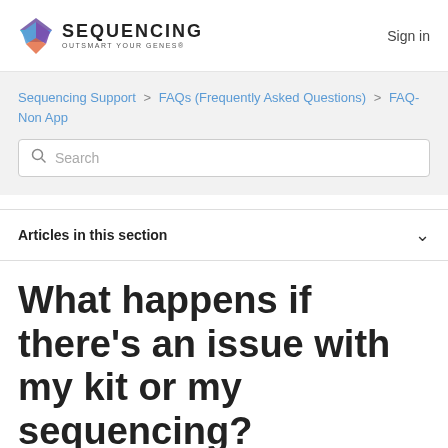SEQUENCING OUTSMART YOUR GENES®  Sign in
Sequencing Support > FAQs (Frequently Asked Questions) > FAQ-Non App
Search
Articles in this section
What happens if there's an issue with my kit or my sequencing?